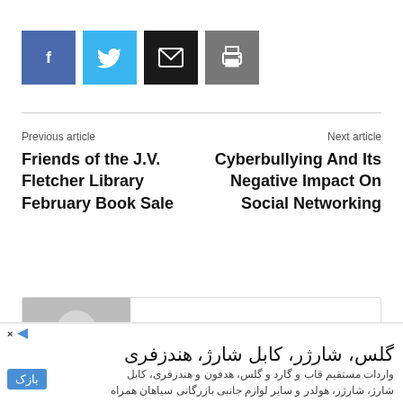[Figure (other): Row of four social sharing buttons: Facebook (blue), Twitter (cyan), Email (black), Print (gray)]
Previous article
Friends of the J.V. Fletcher Library February Book Sale
Next article
Cyberbullying And Its Negative Impact On Social Networking
[Figure (other): Author card showing a placeholder avatar image, the name 'Westford Template', and URL http://westfordtemp.wpengine.com]
[Figure (other): Advertisement banner in Persian/Farsi text with the words: گلس، شارژر، کابل شارژ، هندزفری and subtext about imports]